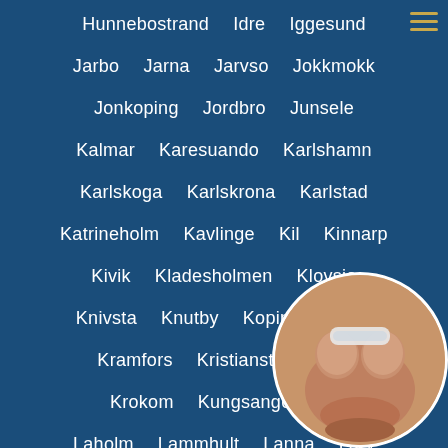Hunnebostrand  Idre  Iggesund
Jarbo  Jarna  Jarvso  Jokkmokk
Jonkoping  Jordbro  Junsele
Kalmar  Karesuando  Karlshamn
Karlskoga  Karlskrona  Karlstad
Katrineholm  Kavlinge  Kil  Kinnarp
Kivik  Kladesholmen  Klovsjo
Knivsta  Knutby  Koping  Kosta
Kramfors  Kristianstad  Kris...
Krokom  Kungsangen  K...
Laholm  Lammhult  Lanna  Larv